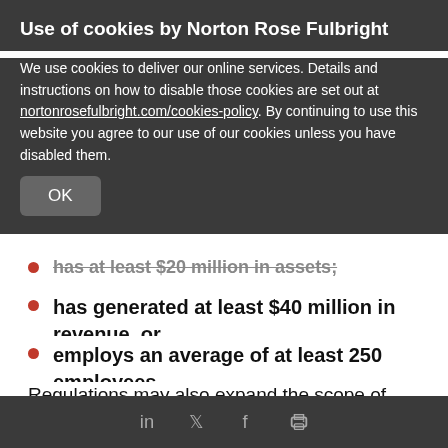Use of cookies by Norton Rose Fulbright
We use cookies to deliver our online services. Details and instructions on how to disable those cookies are set out at nortonrosefulbright.com/cookies-policy. By continuing to use this website you agree to our use of our cookies unless you have disabled them.
has at least $20 million in assets;
has generated at least $40 million in revenue, or
employs an average of at least 250 employees.
Regulations may also expand the scope of what qualifies as an “entity.” Similarly, the definition of “control” is very broad: an entity is controlled by another entity if that entity controls it in any matter, whether directly or indirectly. If an entity is said to
Social share icons: LinkedIn, Twitter, Facebook, Print